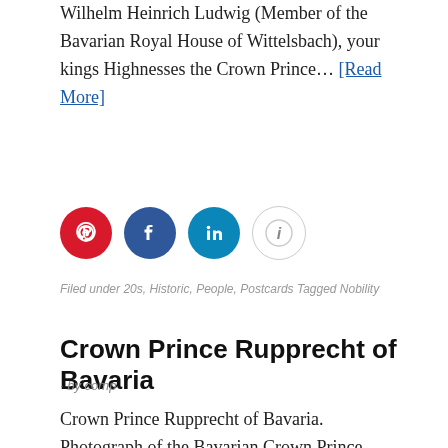Wilhelm Heinrich Ludwig (Member of the Bavarian Royal House of Wittelsbach), your kings Highnesses the Crown Prince… [Read More]
[Figure (infographic): Four social sharing icons in a row: Pinterest (red circle), Facebook (dark blue circle), LinkedIn (teal/blue circle), Info (white circle with grey border)]
Filed under 20s, Historic, People, Postcards Tagged Nobility
Crown Prince Rupprecht of Bavaria
· by comp
Crown Prince Rupprecht of Bavaria. Photograph of the Bavarian Crown Prince Rupprecht of Bavaria (1869–1955)